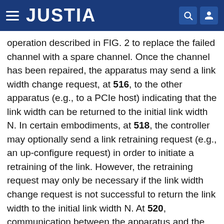JUSTIA
operation described in FIG. 2 to replace the failed channel with a spare channel. Once the channel has been repaired, the apparatus may send a link width change request, at 516, to the other apparatus (e.g., to a PCIe host) indicating that the link width can be returned to the initial link width N. In certain embodiments, at 518, the controller may optionally send a link retraining request (e.g., an up-configure request) in order to initiate a retraining of the link. However, the retraining request may only be necessary if the link width change request is not successful to return the link width to the initial link width N. At 520, communication between the apparatus and the other apparatus may continue at full capacity with link width returned to the initial link width N.
The descriptions of the various embodiments of the